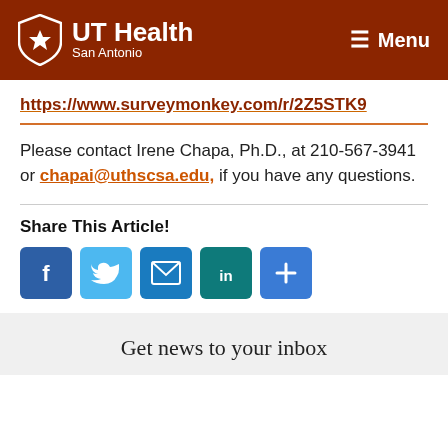UT Health San Antonio — Menu
https://www.surveymonkey.com/r/2Z5STK9
Please contact Irene Chapa, Ph.D., at 210-567-3941 or chapai@uthscsa.edu, if you have any questions.
Share This Article!
[Figure (infographic): Social share buttons: Facebook, Twitter, Email, LinkedIn, and a plus/more button]
Get news to your inbox